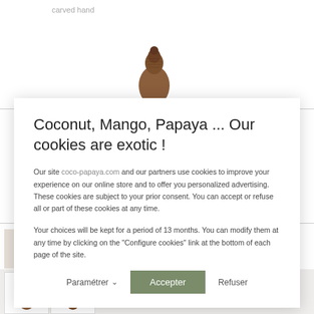carved hand
[Figure (photo): Top portion of a carved wooden Buddha statue head with braided hair/topknot, brown color]
Coconut, Mango, Papaya ... Our cookies are exotic !
Our site coco-papaya.com and our partners use cookies to improve your experience on our online store and to offer you personalized advertising. These cookies are subject to your prior consent. You can accept or refuse all or part of these cookies at any time.
Your choices will be kept for a period of 13 months. You can modify them at any time by clicking on the "Configure cookies" link at the bottom of each page of the site.
Paramétrer ∨   Accepter   Refuser
[Figure (photo): Row of carved wooden Buddha statue thumbnails at the bottom of the page]